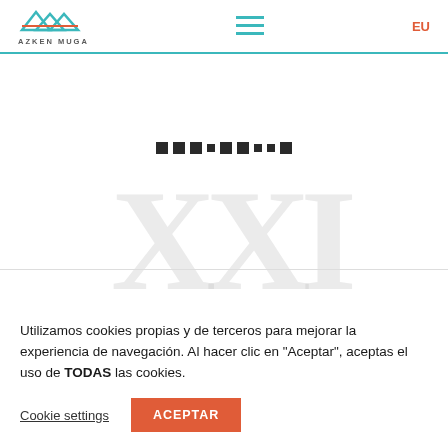[Figure (logo): Azken Muga logo with mountain/wave graphic in teal and orange-red, with text AZKEN MUGA below]
[Figure (other): Hamburger menu icon in teal]
EU
[Figure (other): A row of 9 dark square dots of varying sizes used as a slideshow/carousel indicator]
[Figure (other): Large watermark-style text 'XXI' in very light gray]
Utilizamos cookies propias y de terceros para mejorar la experiencia de navegación. Al hacer clic en "Aceptar", aceptas el uso de TODAS las cookies.
Cookie settings
ACEPTAR